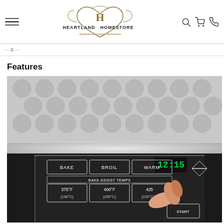Heartland Homestore — Appliances Linens Mattresses
Page ...
Features
[Figure (photo): Close-up photo of an oven control panel showing touch buttons labeled BAKE, BROIL, WARM, BAKE ASSIST TEMPS with temperatures 375°F (190°C), 400°F (205°C), 425°F (220°C), and a START button. A person's finger is pressing one of the buttons. Green digital clock display showing 12:15. Stainless steel backsplash with circular pattern in background.]